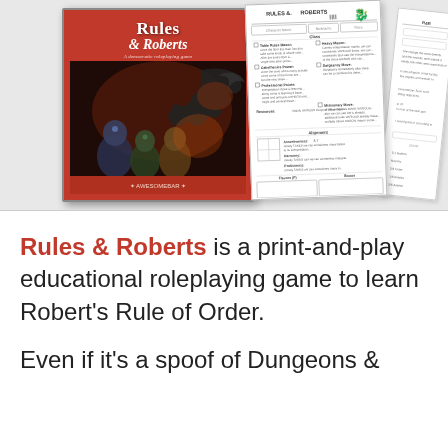[Figure (illustration): Book cover of 'Rules & Roberts: A democratic roleplaying game' with red cover showing fantasy characters and a dragon, alongside character sheet pages for the game]
Rules & Roberts is a print-and-play educational roleplaying game to learn Robert's Rule of Order.
Even if it's a spoof of Dungeons &